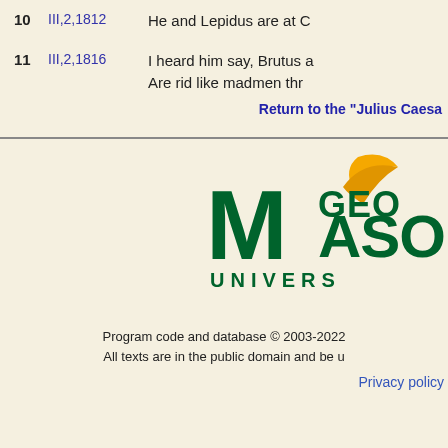10  III,2,1812  He and Lepidus are at C
11  III,2,1816  I heard him say, Brutus a  Are rid like madmen thr
Return to the "Julius Caesa
[Figure (logo): George Mason University logo with gold swoosh, green MASON text and UNIVERSITY text below]
Program code and database © 2003-2022  All texts are in the public domain and be u
Privacy policy